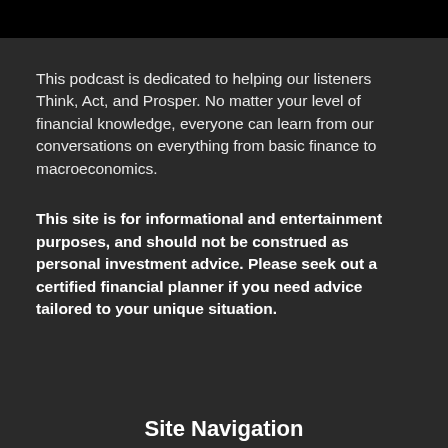This podcast is dedicated to helping our listeners Think, Act, and Prosper. No matter your level of financial knowledge, everyone can learn from our conversations on everything from basic finance to macroeconomics.
This site is for informational and entertainment purposes, and should not be construed as personal investment advice. Please seek out a certified financial planner if you need advice tailored to your unique situation.
Site Navigation